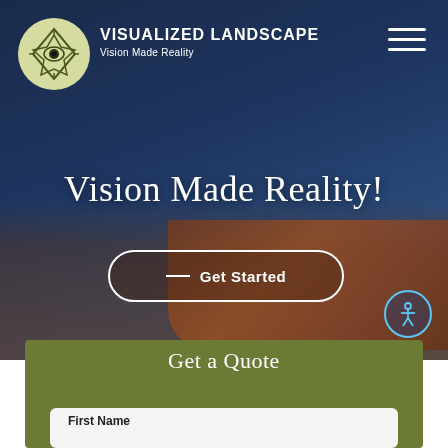[Figure (screenshot): Website screenshot for Visualized Landscape landscaping company. Dark blue gradient background with a photo of a Spanish-style building with terracotta roof tiles. Navigation header with circular logo, company name, and hamburger menu. Hero text 'Vision Made Reality!' centered on page. 'Get Started' CTA button with rounded border. Accessibility icon in bottom right. Olive green section at bottom with 'Get a Quote' heading and a white form input box labeled 'First Name'.]
VISUALIZED LANDSCAPE Vision Made Reality
Vision Made Reality!
Get Started
Get a Quote
First Name